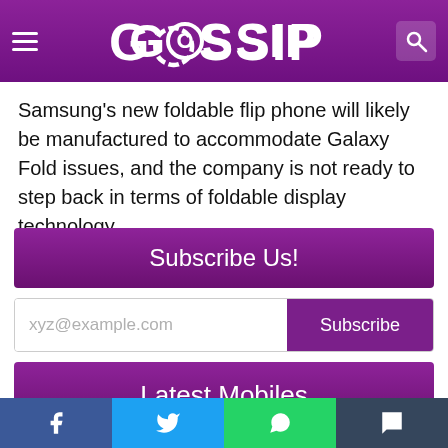GOSSIP
Samsung's new foldable flip phone will likely be manufactured to accommodate Galaxy Fold issues, and the company is not ready to step back in terms of foldable display technology.
Subscribe Us!
xyz@example.com  Subscribe
Latest Mobiles
[Figure (photo): Phone image and Huawei Mate Xs 2 listing]
Facebook  Twitter  WhatsApp  Tumblr